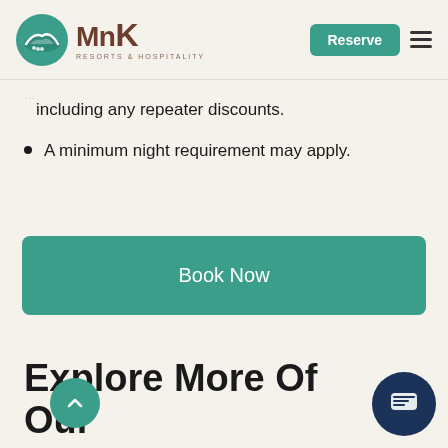MnK Resorts & Hospitality — Reserve
including any repeater discounts.
A minimum night requirement may apply.
Book Now
Explore More Of Our